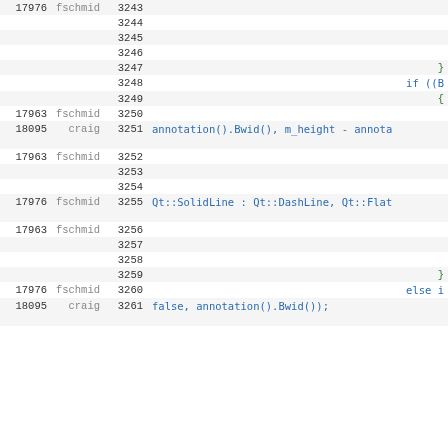Code diff view showing lines 3243-3261 with revision numbers and authors (fschmid, craig)